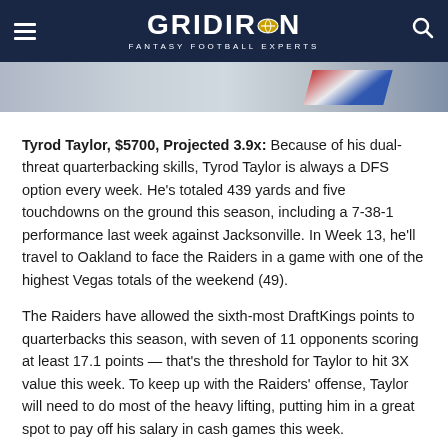GRIDIRON FANTASY FOOTBALL EXPERTS
[Figure (photo): Partial hero image showing a football player jersey with red, white, and blue colors]
Tyrod Taylor, $5700, Projected 3.9x: Because of his dual-threat quarterbacking skills, Tyrod Taylor is always a DFS option every week. He's totaled 439 yards and five touchdowns on the ground this season, including a 7-38-1 performance last week against Jacksonville. In Week 13, he'll travel to Oakland to face the Raiders in a game with one of the highest Vegas totals of the weekend (49).
The Raiders have allowed the sixth-most DraftKings points to quarterbacks this season, with seven of 11 opponents scoring at least 17.1 points — that's the threshold for Taylor to hit 3X value this week. To keep up with the Raiders' offense, Taylor will need to do most of the heavy lifting, putting him in a great spot to pay off his salary in cash games this week.